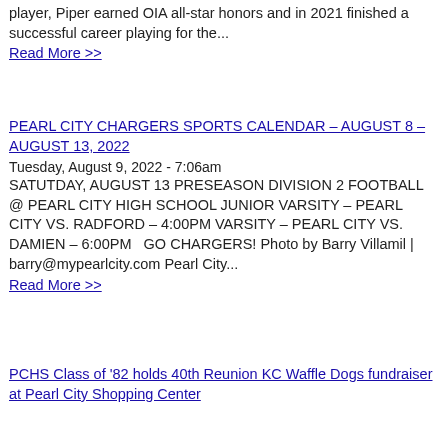player, Piper earned OIA all-star honors and in 2021 finished a successful career playing for the...
Read More >>
PEARL CITY CHARGERS SPORTS CALENDAR – AUGUST 8 – AUGUST 13, 2022
Tuesday, August 9, 2022 - 7:06am
SATUTDAY, AUGUST 13 PRESEASON DIVISION 2 FOOTBALL @ PEARL CITY HIGH SCHOOL JUNIOR VARSITY – PEARL CITY VS. RADFORD – 4:00PM VARSITY – PEARL CITY VS. DAMIEN – 6:00PM   GO CHARGERS! Photo by Barry Villamil | barry@mypearlcity.com Pearl City...
Read More >>
PCHS Class of '82 holds 40th Reunion KC Waffle Dogs fundraiser at Pearl City Shopping Center